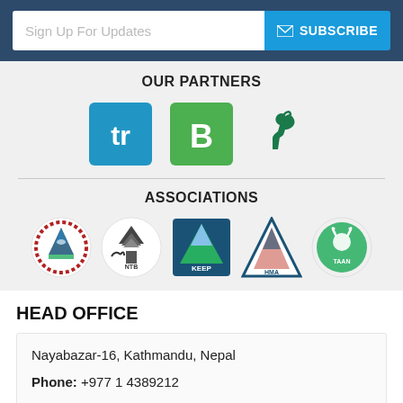Sign Up For Updates | SUBSCRIBE
OUR PARTNERS
[Figure (logo): Three partner logos: Tourradar (blue), Bookmundi (green), and a green mountain goat logo]
ASSOCIATIONS
[Figure (logo): Five association logos: Nepal government emblem, NTB (Nepal Tourism Board), KEEP, HMA (Himalayan Mountaineering Association), and TAAN]
HEAD OFFICE
Nayabazar-16, Kathmandu, Nepal
Phone: +977 1 4389212
Email: sales@nepalhikingteam.com
24 hrs Emergency Contact:
+977 98510 58 678 (Ganga)